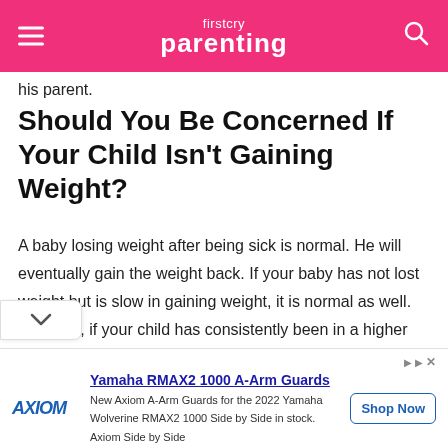firstcry Parenting
his parent.
Should You Be Concerned If Your Child Isn't Gaining Weight?
A baby losing weight after being sick is normal. He will eventually gain the weight back. If your baby has not lost weight but is slow in gaining weight, it is normal as well. However, if your child has consistently been in a higher growth percentile but of late dropped to a rather low ntile, it should be an alarm for you.
[Figure (other): Advertisement banner: Yamaha RMAX2 1000 A-Arm Guards by Axiom. Text: New Axiom A-Arm Guards for the 2022 Yamaha Wolverine RMAX2 1000 Side by Side in stock. Axiom Side by Side. Shop Now button.]